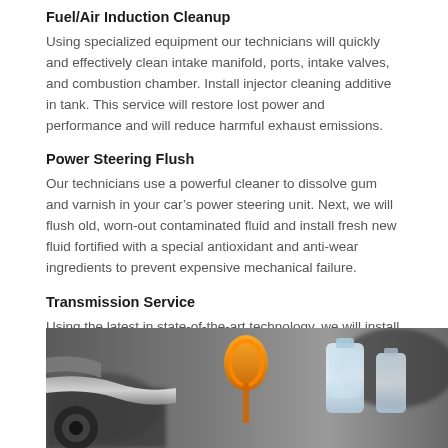Fuel/Air Induction Cleanup
Using specialized equipment our technicians will quickly and effectively clean intake manifold, ports, intake valves, and combustion chamber. Install injector cleaning additive in tank. This service will restore lost power and performance and will reduce harmful exhaust emissions.
Power Steering Flush
Our technicians use a powerful cleaner to dissolve gum and varnish in your car’s power steering unit. Next, we will flush old, worn-out contaminated fluid and install fresh new fluid fortified with a special antioxidant and anti-wear ingredients to prevent expensive mechanical failure.
Transmission Service
Using the latest in state-of-the-art technology, we will install a safe and effective cleaner to suspend harmful varnish and sludge from the transmission valve body, torque converter and lines. Install new high-tech fluid with conditioners.
[Figure (photo): Close-up photo of automotive engine components including an orange dipstick handle and clear fluid containers/bottles against a blurred mechanical background.]